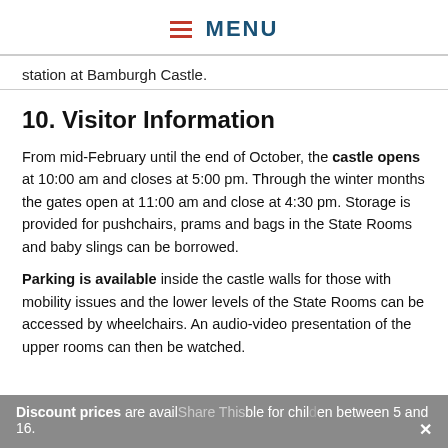MENU
station at Bamburgh Castle.
10. Visitor Information
From mid-February until the end of October, the castle opens at 10:00 am and closes at 5:00 pm. Through the winter months the gates open at 11:00 am and close at 4:30 pm. Storage is provided for pushchairs, prams and bags in the State Rooms and baby slings can be borrowed.
Parking is available inside the castle walls for those with mobility issues and the lower levels of the State Rooms can be accessed by wheelchairs. An audio-video presentation of the upper rooms can then be watched.
Discount prices are available for children between 5 and 16.